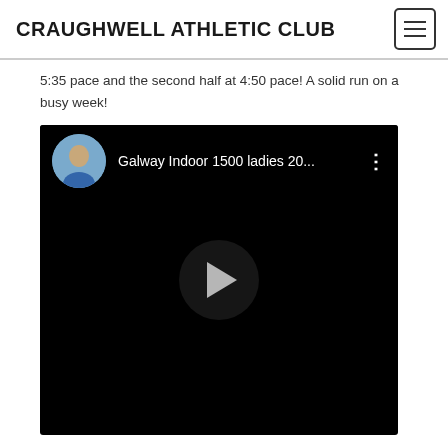CRAUGHWELL ATHLETIC CLUB
5:35 pace and the second half at 4:50 pace! A solid run on a busy week!
[Figure (screenshot): Embedded YouTube video thumbnail showing 'Galway Indoor 1500 ladies 20...' with a user avatar, video title, three-dot menu, and a play button in the center on a black background.]